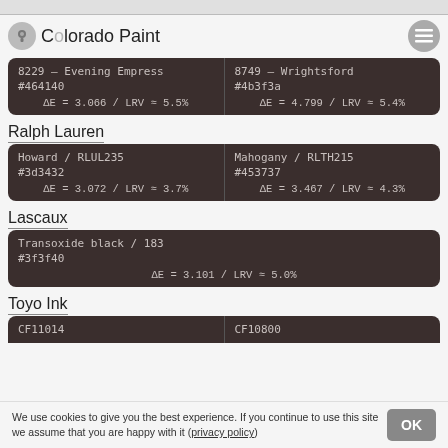Colorado Paint
| Color 1 | Color 2 |
| --- | --- |
| 8229 – Evening Empress
#464140
ΔE = 3.066 / LRV ≈ 5.5% | 8749 – Wrightsford
#4b3f3a
ΔE = 4.799 / LRV ≈ 5.4% |
Ralph Lauren
| Color 1 | Color 2 |
| --- | --- |
| Howard / RLUL235
#3d3432
ΔE = 3.072 / LRV ≈ 3.7% | Mahogany / RLTH215
#453737
ΔE = 3.467 / LRV ≈ 4.3% |
Lascaux
| Color |
| --- |
| Transoxide black / 183
#3f3f40
ΔE = 3.101 / LRV ≈ 5.0% |
Toyo Ink
| Color 1 | Color 2 |
| --- | --- |
| CF11014 | CF10800 |
We use cookies to give you the best experience. If you continue to use this site we assume that you are happy with it (privacy policy)